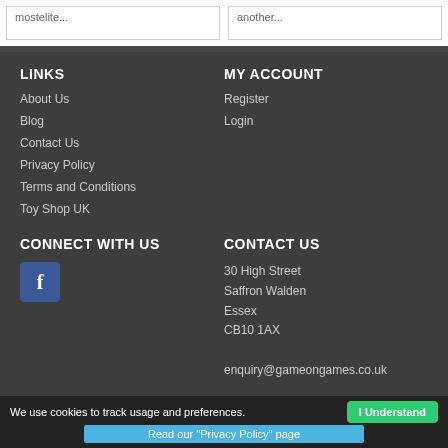mostelite...
another...
LINKS
About Us
Blog
Contact Us
Privacy Policy
Terms and Conditions
Toy Shop UK
MY ACCOUNT
Register
Login
CONNECT WITH US
[Figure (logo): Facebook icon button]
CONTACT US
30 High Street
Saffron Walden
Essex
CB10 1AX
enquiry@gameongames.co.uk
01799 506070
PAYMENT & SECURITY
We use cookies to track usage and preferences.
Read our "Privacy Policy" page